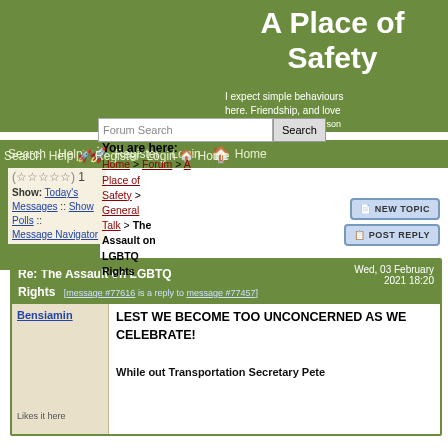A Place of Safety
I expect simple behaviours here. Friendship, and love...the perspective of the person
Search  Help  Register  Login  Home
You are here: Home > Forum > A Place of Safety > General Talk > The Assault on LGBTQ Rights
(★☆☆☆☆) 1 Vote
Show: Today's Messages :: Show Polls :: Message Navigator
Re: The Assault on LGBTQ Rights  [message #77616 is a reply to message #77457]  Wed, 03 February 2021 18:20
Bensiamin
LEST WE BECOME TOO UNCONCERNED AS WE CELEBRATE!
While out Transportation Secretary Pete
Likes it here